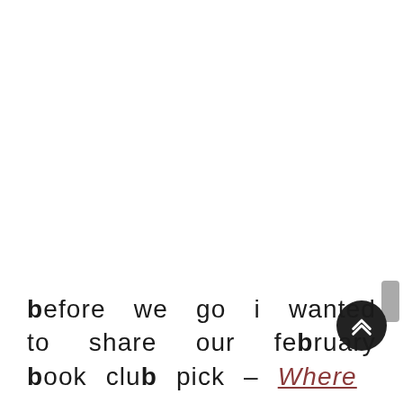before we go i wanted to share our february book club pick – Where